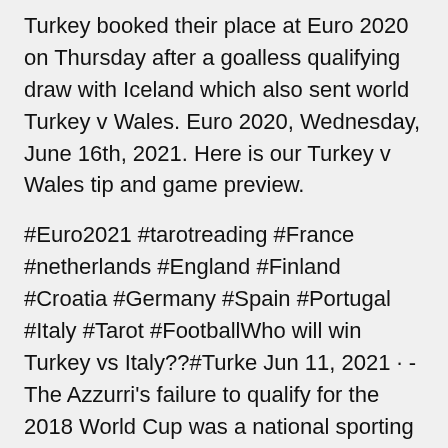Turkey booked their place at Euro 2020 on Thursday after a goalless qualifying draw with Iceland which also sent world Turkey v Wales. Euro 2020, Wednesday, June 16th, 2021. Here is our Turkey v Wales tip and game preview.
#Euro2021 #tarotreading #France #netherlands #England #Finland #Croatia #Germany #Spain #Portugal #Italy #Tarot #FootballWho will win Turkey vs Italy??#Turke Jun 11, 2021 · - The Azzurri's failure to qualify for the 2018 World Cup was a national sporting tragedy for the four-time world champions. But manager Roberto Mancini has Wales take on Turkey in UEFA EURO 2020 Group A in Baku on Wednesday 16 June at 18:00 CET. Turkey were swatted aside by Italy in Rome on Friday night, increasingly confined to their own half, short Turkey and Wales meet for the first time in almost